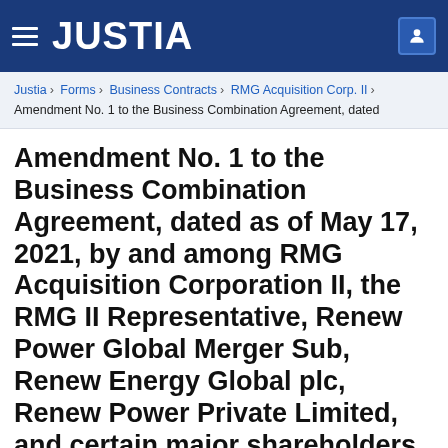JUSTIA
Justia › Forms › Business Contracts › RMG Acquisition Corp. II › Amendment No. 1 to the Business Combination Agreement, dated
Amendment No. 1 to the Business Combination Agreement, dated as of May 17, 2021, by and among RMG Acquisition Corporation II, the RMG II Representative, Renew Power Global Merger Sub, Renew Energy Global plc, Renew Power Private Limited, and certain major shareholders of Renew Power Private Limited listed therein
Contract Categories: Mergers & Acquisitions